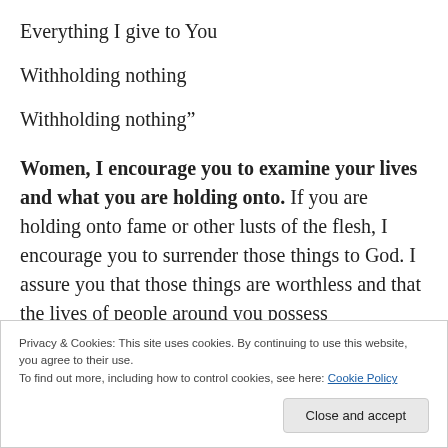Everything I give to You
Withholding nothing
Withholding nothing”
Women, I encourage you to examine your lives and what you are holding onto. If you are holding onto fame or other lusts of the flesh, I encourage you to surrender those things to God. I assure you that those things are worthless and that the lives of people around you possess
Privacy & Cookies: This site uses cookies. By continuing to use this website, you agree to their use.
To find out more, including how to control cookies, see here: Cookie Policy
Close and accept